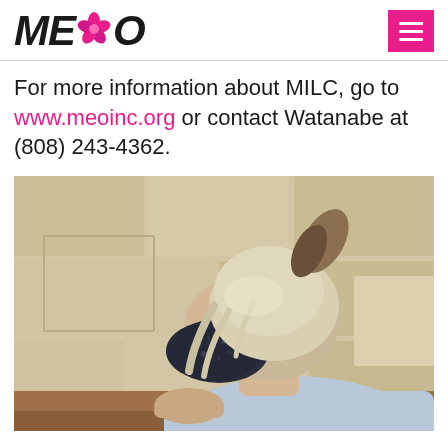MEO (logo with flower)
For more information about MILC, go to www.meoinc.org or contact Watanabe at (808) 243-4362.
[Figure (photo): A person with light blonde hair pulled up, wearing a dark patterned face mask and light blue top, seated at a desk or table, viewed from the side. The background shows a beige stone or tile wall.]